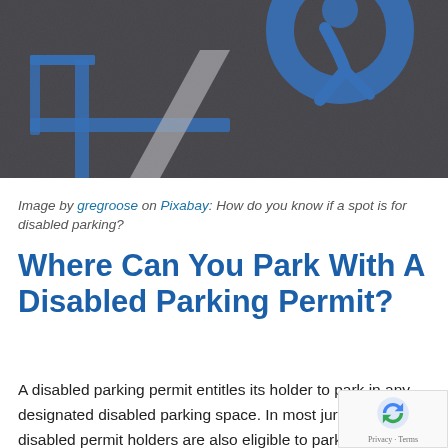[Figure (photo): Overhead photo of a disabled parking space with blue painted markings on asphalt, including the International Symbol of Access (wheelchair symbol) and painted blue lines.]
Image by gregroose on Pixabay: How do you know if a spot is for disabled parking?
Where Can You Park With A Disabled Parking Permit?
A disabled parking permit entitles its holder to park in any designated disabled parking space. In most jurisdictions, disabled permit holders are also eligible to park in metered, on-street, restricted parking spaces for free and for either unlimited or extended